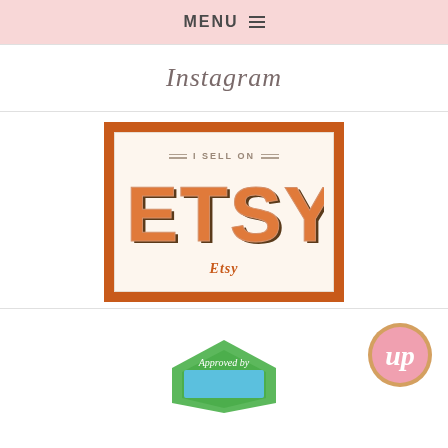MENU
Instagram
[Figure (logo): Etsy badge with orange border, 'I SELL ON' text above large orange ETSY lettering with brown shadow, labeled 'Etsy' below]
[Figure (logo): Round pink and gold badge with cursive 'Up' text]
[Figure (logo): Green octagon badge with 'Approved by' text, partially visible]